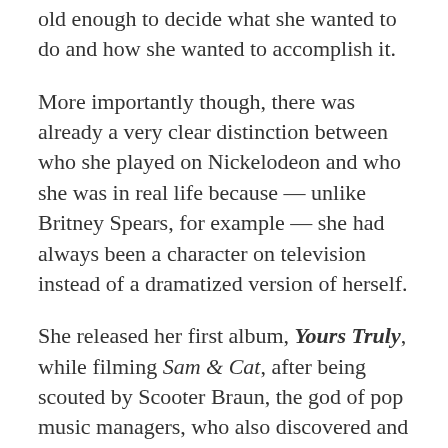old enough to decide what she wanted to do and how she wanted to accomplish it.
More importantly though, there was already a very clear distinction between who she played on Nickelodeon and who she was in real life because — unlike Britney Spears, for example — she had always been a character on television instead of a dramatized version of herself.
She released her first album, Yours Truly, while filming Sam & Cat, after being scouted by Scooter Braun, the god of pop music managers, who also discovered and promoted Justin Bieber. "I don't think she needs to worry about anything other than being who she is," Braun told Complex magazine.
Grande later put acting on the back burner in order